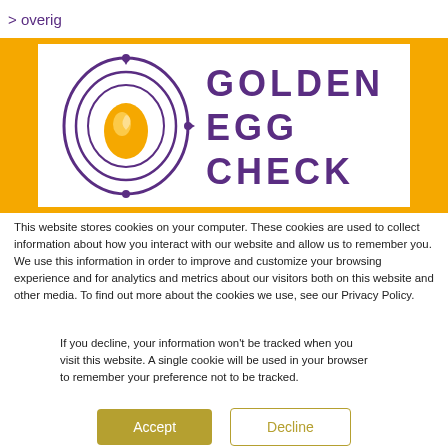> overig
[Figure (logo): Golden Egg Check logo: circular orbit design around a golden egg with purple text GOLDEN EGG CHECK]
This website stores cookies on your computer. These cookies are used to collect information about how you interact with our website and allow us to remember you. We use this information in order to improve and customize your browsing experience and for analytics and metrics about our visitors both on this website and other media. To find out more about the cookies we use, see our Privacy Policy.
If you decline, your information won't be tracked when you visit this website. A single cookie will be used in your browser to remember your preference not to be tracked.